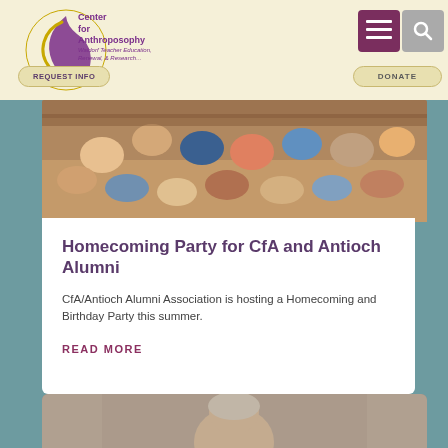Center for Anthroposophy — Waldorf Teacher Education, Renewal, & Research
[Figure (photo): Overhead view of people sitting in a circle on wooden floor inside a hall]
Homecoming Party for CfA and Antioch Alumni
CfA/Antioch Alumni Association is hosting a Homecoming and Birthday Party this summer.
READ MORE
[Figure (photo): Partial view of a person, bottom portion of page]